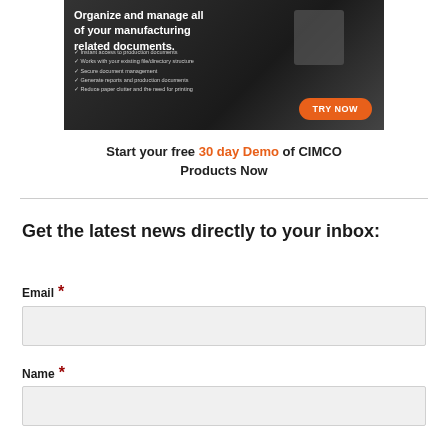[Figure (screenshot): Dark-themed advertisement banner for a document management software. Shows text 'Organize and manage all of your manufacturing related documents.' with a checklist of features and an orange 'TRY NOW' button.]
Start your free 30 day Demo of CIMCO Products Now
Get the latest news directly to your inbox:
Email *
Name *